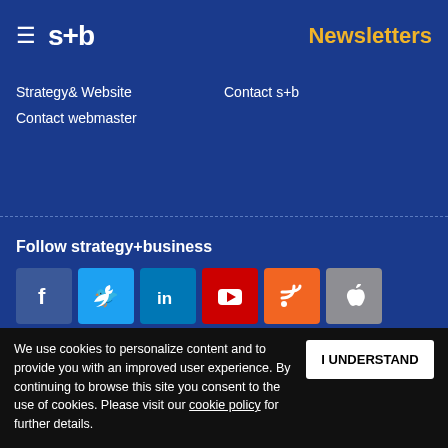≡ s+b   Newsletters
Strategy& Website
Contact s+b
Contact webmaster
Follow strategy+business
[Figure (infographic): Social media icons: Facebook, Twitter, LinkedIn, YouTube, RSS, Apple, Android]
Get s+b's award-winning newsletter delivered to your inbox.
We use cookies to personalize content and to provide you with an improved user experience. By continuing to browse this site you consent to the use of cookies. Please visit our cookie policy for further details.
I UNDERSTAND